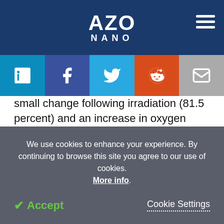AZO NANO
[Figure (infographic): Social media sharing buttons: LinkedIn, Facebook, Twitter, Reddit, Email]
small change following irradiation (81.5 percent) and an increase in oxygen from 15.9 percent to 18.5 percent, according to EDX.
[Figure (illustration): AZO advertisement banner with molecule background and AZO logo]
We use cookies to enhance your experience. By continuing to browse this site you agree to our use of cookies. More info.
✓ Accept   Cookie Settings